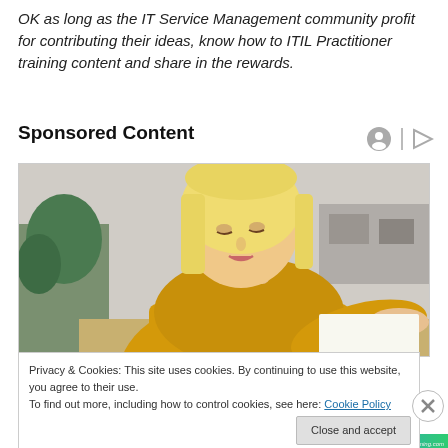OK as long as the IT Service Management community profit for contributing their ideas, know how to ITIL Practitioner training content and share in the rewards.
Sponsored Content
[Figure (photo): A blonde woman in a yellow knit sweater looking down, writing or reading at a desk, with a plant and neutral background visible.]
Privacy & Cookies: This site uses cookies. By continuing to use this website, you agree to their use.
To find out more, including how to control cookies, see here: Cookie Policy